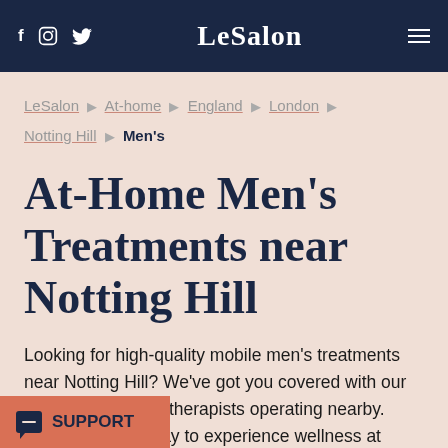LeSalon
LeSalon ▶ At-home ▶ England ▶ London ▶ Notting Hill ▶ Men's
At-Home Men's Treatments near Notting Hill
Looking for high-quality mobile men's treatments near Notting Hill? We've got you covered with our trained and vetted therapists operating nearby. Discover a new way to experience wellness at home today.